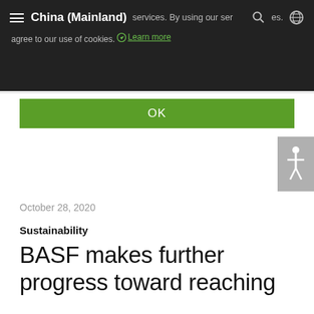China (Mainland) — cookies notice. By using our services, you agree to our use of cookies. Learn more
OK
October 28, 2020
Sustainability
BASF makes further progress toward reaching